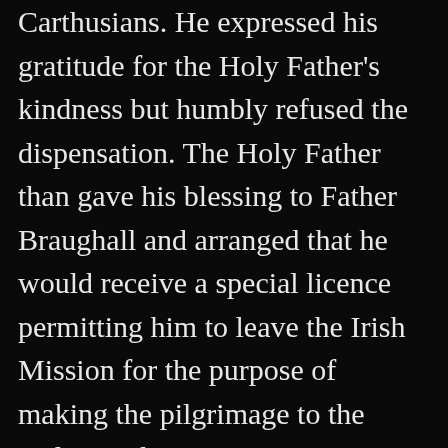Carthusians. He expressed his gratitude for the Holy Father's kindness but humbly refused the dispensation. The Holy Father than gave his blessing to Father Braughall and arranged that he would receive a special licence permitting him to leave the Irish Mission for the purpose of making the pilgrimage to the Holy Land. With everything thus in order, Father Braughall left Rome. But if he felt his objective was now in sight, as it were, he was speedily disillusioned. The anti clericalism that was the aftermath of the French Revolution now seemed to obstruct him at every turn. He wandered from sea-port to sea-port looking for a ship. Along the dock sides he quested, following every